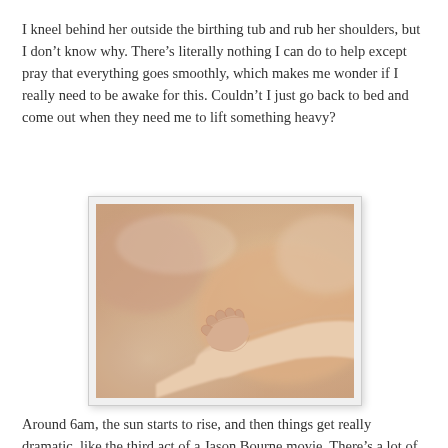I kneel behind her outside the birthing tub and rub her shoulders, but I don't know why. There's literally nothing I can do to help except pray that everything goes smoothly, which makes me wonder if I really need to be awake for this. Couldn't I just go back to bed and come out when they need me to lift something heavy?
[Figure (photo): Close-up photo of a newborn baby's tiny hand gripping an adult's finger, with a soft warm blurred background]
Around 6am, the sun starts to rise, and then things get really dramatic, like the third act of a Jason Bourne movie. There's a lot of grunting and pain and moving around while my wife struggles to push the baby out. The water in the birthing tub